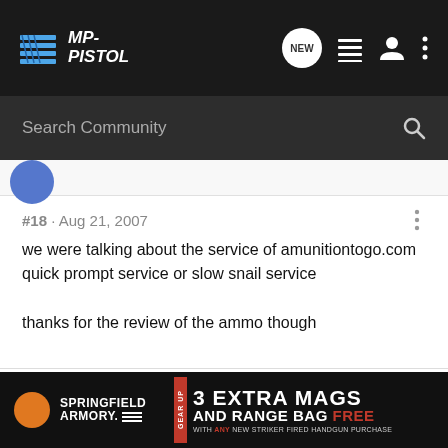MP-PISTOL
Search Community
#18 · Aug 21, 2007
we were talking about the service of amunitiontogo.com quick prompt service or slow snail service

thanks for the review of the ammo though
M&P .40 Novak std Nightsights Owner
Lcpl Ret.
[Figure (screenshot): Springfield Armory advertisement: 3 EXTRA MAGS AND RANGE BAG FREE WITH ANY NEW STRIKER FIRED HANDGUN PURCHASE]